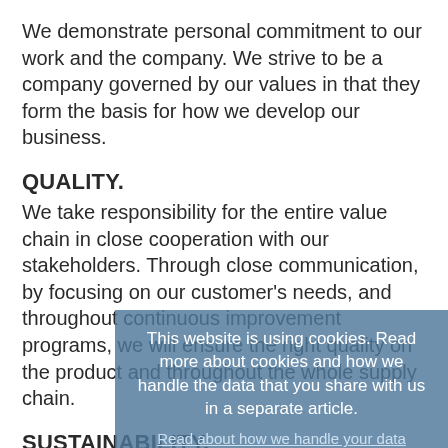We demonstrate personal commitment to our work and the company. We strive to be a company governed by our values in that they form the basis for how we develop our business.
QUALITY.
We take responsibility for the entire value chain in close cooperation with our stakeholders. Through close communication, by focusing on our customer's needs, and throughout continuous improvement programs, we will ensure the right quality on the product and throughout the whole supply chain.
SUSTAINABILITY.
We foster a culture with sustainability at its core through education, communication, and engagement. We value long-term partnerships with our stakeholders and believe that there is always room for innovation and development when it comes to sourcing, designing, manufacturing, and establishing after use for our
This website is using cookies. Read more about cookies and how we handle the data that you share with us in a separate article.
Read about how we handle your data
I understand and approve